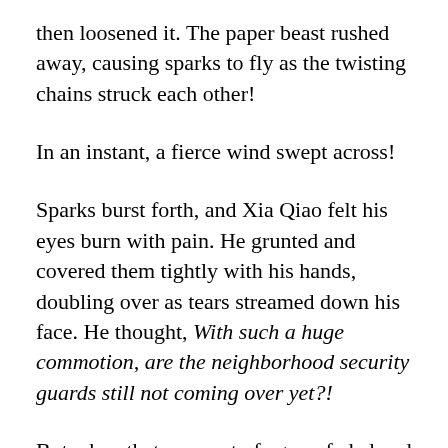then loosened it. The paper beast rushed away, causing sparks to fly as the twisting chains struck each other!
In an instant, a fierce wind swept across!
Sparks burst forth, and Xia Qiao felt his eyes burn with pain. He grunted and covered them tightly with his hands, doubling over as tears streamed down his face. He thought, With such a huge commotion, are the neighborhood security guards still not coming over yet?!
But when that moment of agony faded and he lifted his head, bracing himself against the scalding wind, he discovered that the shadows of